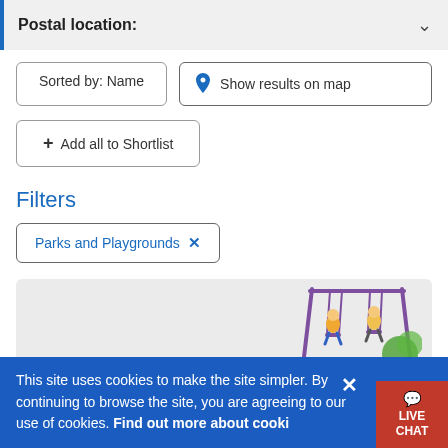Postal location:
Sorted by: Name
Show results on map
+ Add all to Shortlist
Filters
Parks and Playgrounds ×
[Figure (illustration): Illustration of children on a swing set with green foliage background]
This site uses cookies to make the site simpler. By continuing to browse the site, you are agreeing to our use of cookies. Find out more about cookies